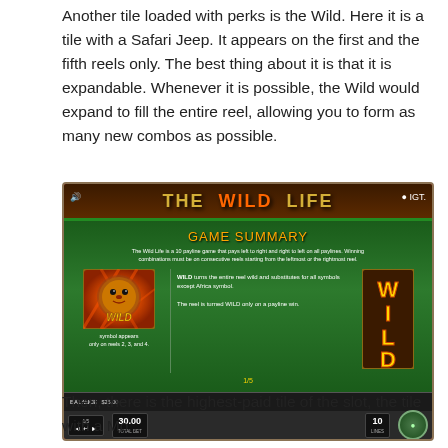Another tile loaded with perks is the Wild. Here it is a tile with a Safari Jeep. It appears on the first and the fifth reels only. The best thing about it is that it is expandable. Whenever it is possible, the Wild would expand to fill the entire reel, allowing you to form as many new combos as possible.
[Figure (screenshot): Screenshot of The Wild Life slot game showing the Game Summary paytable screen. The screen displays a lion Wild symbol on the left, descriptive text in the center explaining WILD turns the entire reel wild and substitutes for all symbols except Africa symbol, and a vertical WILD symbol on the right. The header shows 'THE WILD LIFE' logo with IGT branding. Bottom controls show Balance: $25.00, 1/5, total bet 30.00, and 10 lines.]
Then, there is the highest-paid tile of the slot, the tile with a Mo...